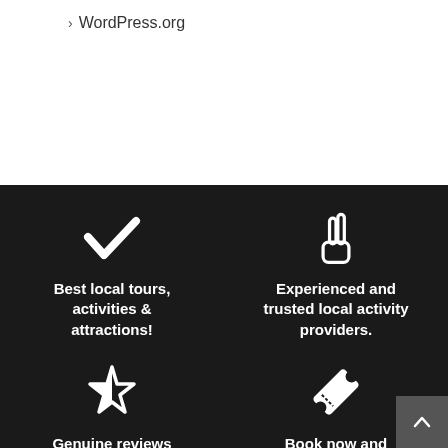› WordPress.org
Best local tours, activities & attractions!
Experienced and trusted local activity providers.
Genuine reviews from real customers.
Book now and receive instant tickets.